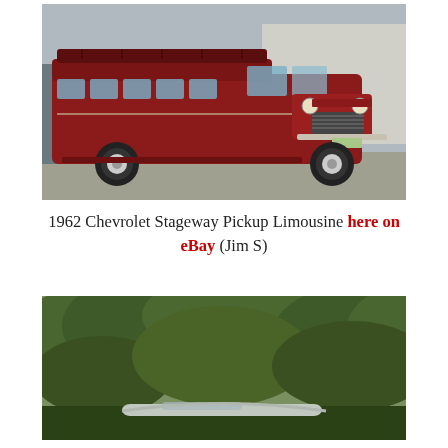[Figure (photo): Red 1962 Chevrolet Stageway Pickup Limousine parked in a lot, viewed from front-left quarter angle. The vehicle is elongated with multiple windows along the side, chrome grille, and Chevrolet branding on the front.]
1962 Chevrolet Stageway Pickup Limousine here on eBay (Jim S)
[Figure (photo): Partial view of a vehicle partially hidden among dense green foliage/trees, with what appears to be a pale or silver colored car roof visible at the bottom of the frame.]